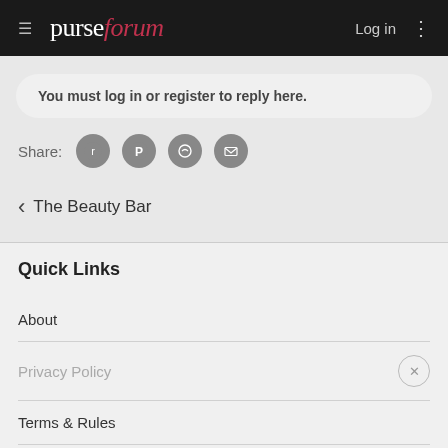purseforum — Log in
You must log in or register to reply here.
Share:
< The Beauty Bar
Quick Links
About
Privacy Policy
Terms & Rules
Contact Us